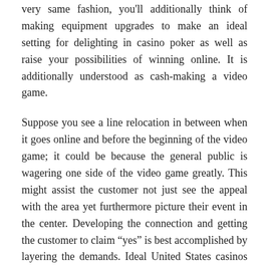very same fashion, you'll additionally think of making equipment upgrades to make an ideal setting for delighting in casino poker as well as raise your possibilities of winning online. It is additionally understood as cash-making a video game.
Suppose you see a line relocation in between when it goes online and before the beginning of the video game; it could be because the general public is wagering one side of the video game greatly. This might assist the customer not just see the appeal with the area yet furthermore picture their event in the center. Developing the connection and getting the customer to claim “yes” is best accomplished by layering the demands. Ideal United States casinos online! You can pick as well as visit various websites to dip into the one which you discover the very best according to the on the internet video gaming info offered. In the walk-through, begin out by showing the marquee area, also though this